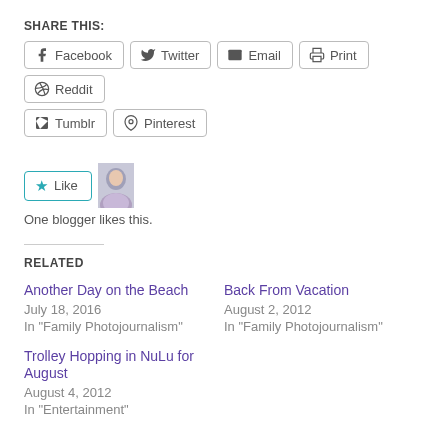SHARE THIS:
Facebook | Twitter | Email | Print | Reddit | Tumblr | Pinterest
[Figure (other): Like button with blue star and blogger avatar photo]
One blogger likes this.
RELATED
Another Day on the Beach
July 18, 2016
In "Family Photojournalism"
Back From Vacation
August 2, 2012
In "Family Photojournalism"
Trolley Hopping in NuLu for August
August 4, 2012
In "Entertainment"